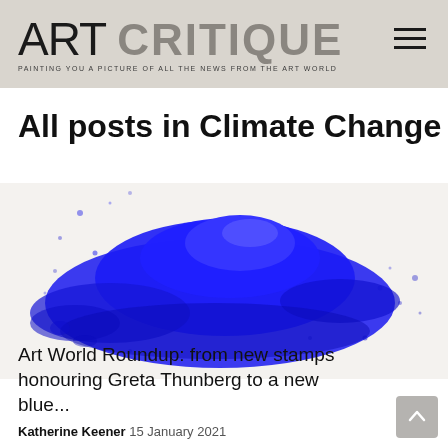ART CRITIQUE — PAINTING YOU A PICTURE OF ALL THE NEWS FROM THE ART WORLD
All posts in Climate Change
[Figure (photo): Vivid blue powder pigment heaped on a white surface, spreading outward from a central pile]
Art World Roundup: from new stamps honouring Greta Thunberg to a new blue...
Katherine Keener 15 January 2021